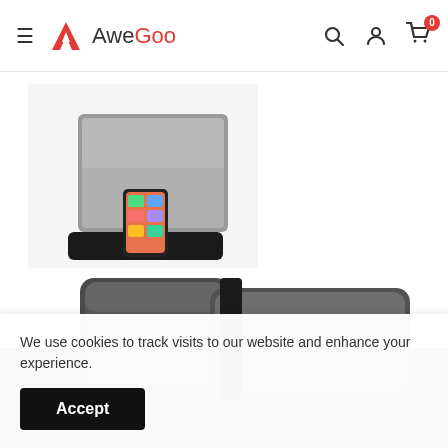AweGoo — navigation header with hamburger menu, logo, search, account, and cart icons
[Figure (photo): Product thumbnail photo: a laptop placed vertically in a dual-slot vertical laptop stand with a phone also docked, gray aluminum stand on white background]
[Figure (photo): Main product photo close-up: Vaydeer branded gray aluminum vertical laptop stand, showing two slots from above at an angle, with Chinese characters on the stand]
We use cookies to track visits to our website and enhance your experience.
Accept